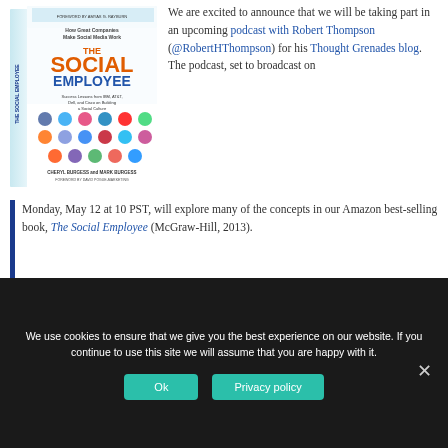[Figure (illustration): Book cover of 'The Social Employee: How Great Companies Make Social Media Work' by Cheryl Burgess and Mark Burgess (McGraw-Hill, 2013), shown as a 3D angled book with colorful social media icons]
We are excited to announce that we will be taking part in an upcoming podcast with Robert Thompson (@RobertHThompson) for his Thought Grenades blog. The podcast, set to broadcast on Monday, May 12 at 10 PST, will explore many of the concepts in our Amazon best-selling book, The Social Employee (McGraw-Hill, 2013).
We use cookies to ensure that we give you the best experience on our website. If you continue to use this site we will assume that you are happy with it.